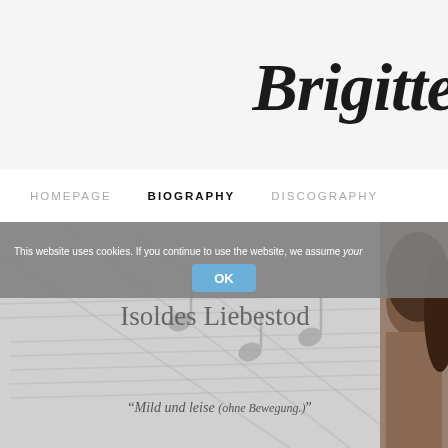Brigitte
HOMEPAGE   BIOGRAPHY   DISCOGRAPHY
[Figure (screenshot): Website screenshot showing a header with italic bold title 'Brigitte', navigation bar with HOMEPAGE, BIOGRAPHY, DISCOGRAPHY links, a hero section with sheet music background and portrait silhouette on right, a cookie consent banner overlay reading 'This website uses cookies. If you continue to use the website, we assume your consent' with an OK button, and text 'Isoldes Liebestod' and '"Mild und leise (ohne Bewegung.)"']
This website uses cookies. If you continue to use the website, we assume your consent
Consent
OK
Isoldes Liebestod
"Mild und leise (ohne Bewegung.)"